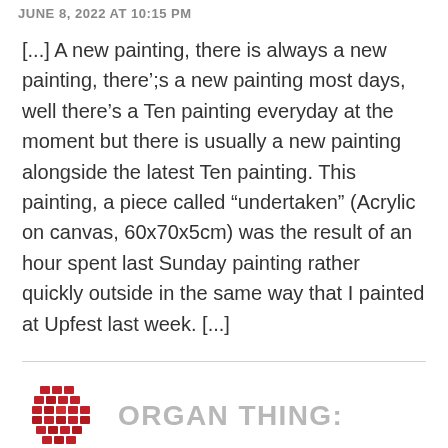JUNE 8, 2022 AT 10:15 PM
[...] A new painting, there is always a new painting, there’;s a new painting most days, well there’s a Ten painting everyday at the moment but there is usually a new painting alongside the latest Ten painting. This painting, a piece called “undertaken” (Acrylic on canvas, 60x70x5cm) was the result of an hour spent last Sunday painting rather quickly outside in the same way that I painted at Upfest last week. [...]
[Figure (logo): Red pixelated/knitted organ illustration logo]
ORGAN THING: